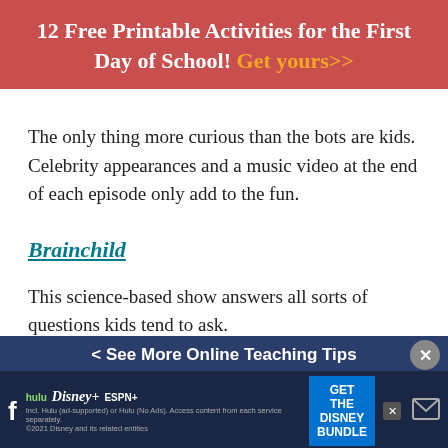12 Free Printable Activities for the First Day of School! Get yours>>
The only thing more curious than the bots are kids. Celebrity appearances and a music video at the end of each episode only add to the fun.
Brainchild
This science-based show answers all sorts of questions kids tend to ask.
Buddi
With kindness, curiosity and childlike wonder, five
< See More Online Teaching Tips